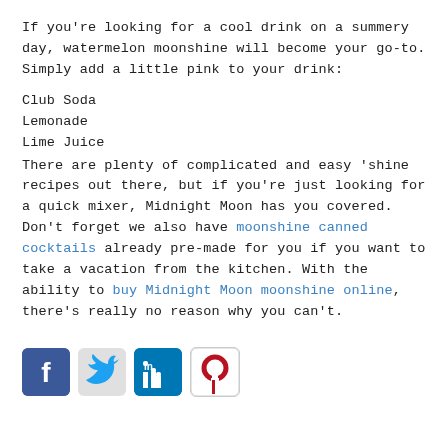If you're looking for a cool drink on a summery day, watermelon moonshine will become your go-to. Simply add a little pink to your drink:
Club Soda
Lemonade
Lime Juice
There are plenty of complicated and easy 'shine recipes out there, but if you're just looking for a quick mixer, Midnight Moon has you covered. Don't forget we also have moonshine canned cocktails already pre-made for you if you want to take a vacation from the kitchen. With the ability to buy Midnight Moon moonshine online, there's really no reason why you can't.
[Figure (infographic): Social media sharing icons: Facebook, Twitter, LinkedIn, Pinterest]